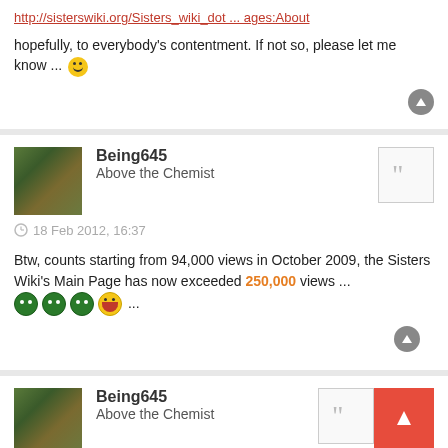http://sisterswiki.org/Sisters_wiki_dot ... ages:About
hopefully, to everybody's contentment. If not so, please let me know ... 🙂
Being645
Above the Chemist
18 Feb 2012, 16:37
Btw, counts starting from 94,000 views in October 2009, the Sisters Wiki's Main Page has now exceeded 250,000 views ... 😈😈😈😄 ...
Being645
Above the Chemist